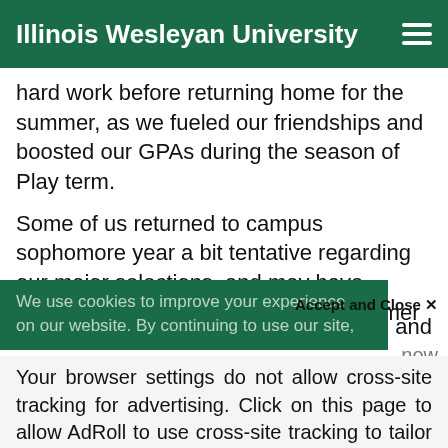Illinois Wesleyan University
hard work before returning home for the summer, as we fueled our friendships and boosted our GPAs during the season of Play term.
Some of us returned to campus sophomore year a bit tentative regarding our major selections, and may have decided to pursue other interests. Former
and
We use cookies to improve your experience on our website. By continuing to use our site,
Accept and Close ✕
now
Your browser settings do not allow cross-site tracking for advertising. Click on this page to allow AdRoll to use cross-site tracking to tailor ads to you. Learn more or opt out of this AdRoll tracking by clicking here. This message only appears once.
attempt to help us c past the c and c on in